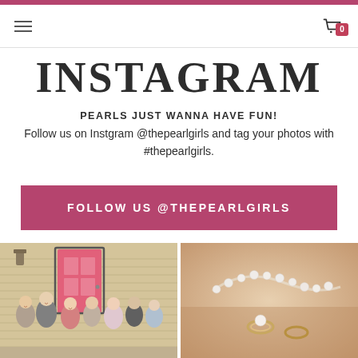INSTAGRAM
PEARLS JUST WANNA HAVE FUN!
Follow us on Instgram @thepearlgirls and tag your photos with #thepearlgirls.
FOLLOW US @THEPEARLGIRLS
[Figure (photo): Group of women laughing in front of a pink door on a porch]
[Figure (photo): Close-up of pearl jewelry on a wooden surface]